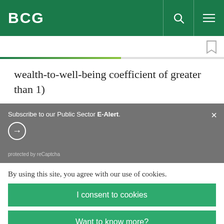BCG
wealth-to-well-being coefficient of greater than 1)
Subscribe to our Public Sector E-Alert.
protected by reCaptcha
By using this site, you agree with our use of cookies.
I consent to cookies
Want to know more?
Read our Cookie Policy